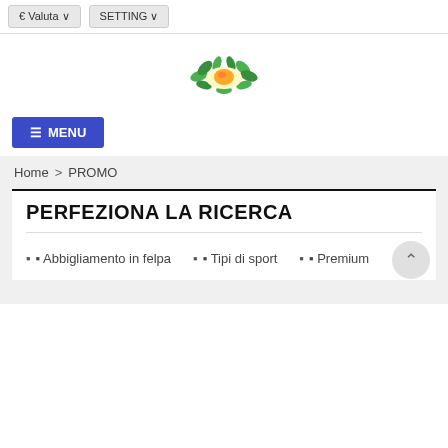€ Valuta   SETTING
[Figure (logo): Circular logo with green leaves and orange/yellow center element, resembling an egg or fruit]
≡ MENU
Home > PROMO
PERFEZIONA LA RICERCA
Abbigliamento in felpa
Tipi di sport
Premium